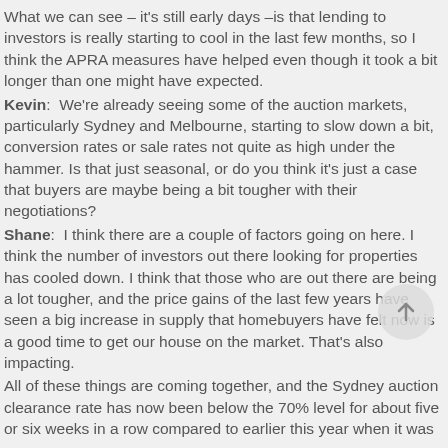What we can see – it's still early days –is that lending to investors is really starting to cool in the last few months, so I think the APRA measures have helped even though it took a bit longer than one might have expected.
Kevin:  We're already seeing some of the auction markets, particularly Sydney and Melbourne, starting to slow down a bit, conversion rates or sale rates not quite as high under the hammer. Is that just seasonal, or do you think it's just a case that buyers are maybe being a bit tougher with their negotiations?
Shane:  I think there are a couple of factors going on here. I think the number of investors out there looking for properties has cooled down. I think that those who are out there are being a lot tougher, and the price gains of the last few years have seen a big increase in supply that homebuyers have felt now is a good time to get our house on the market. That's also impacting.
All of these things are coming together, and the Sydney auction clearance rate has now been below the 70% level for about five or six weeks in a row compared to earlier this year when it was...